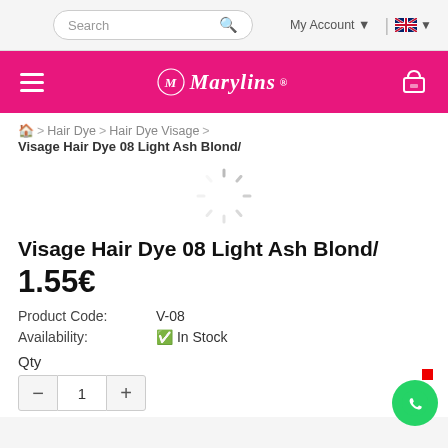Search | My Account | [flag]
[Figure (logo): Marylins brand logo in white on pink background with hamburger menu and cart icon]
Home > Hair Dye > Hair Dye Visage > Visage Hair Dye 08 Light Ash Blond/
[Figure (illustration): Loading spinner / circular progress indicator]
Visage Hair Dye 08 Light Ash Blond/
1.55€
Product Code: V-08
Availability: ✔ In Stock
Qty
— 1 +